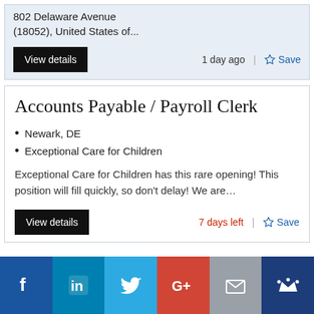802 Delaware Avenue (18052), United States of...
View details
1 day ago
Save
Accounts Payable / Payroll Clerk
Newark, DE
Exceptional Care for Children
Exceptional Care for Children has this rare opening! This position will fill quickly, so don't delay! We are…
View details
7 days left
Save